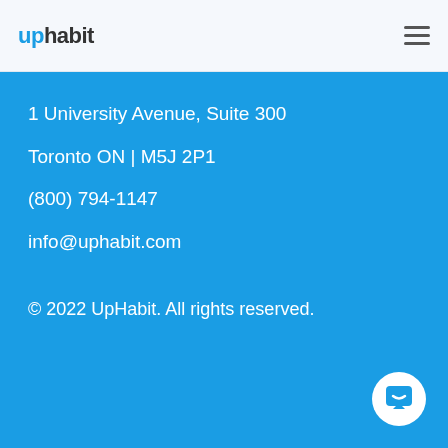uphabit
1 University Avenue, Suite 300
Toronto ON | M5J 2P1
(800) 794-1147
info@uphabit.com
© 2022 UpHabit. All rights reserved.
[Figure (other): Chat/support button widget in bottom-right corner]